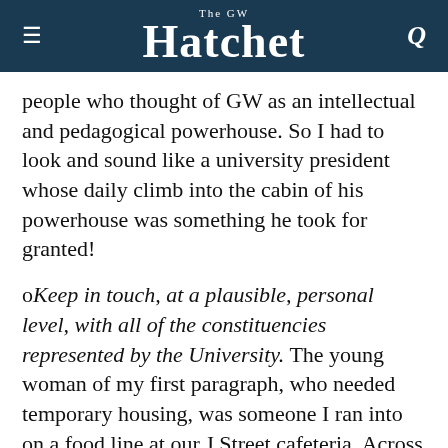The GW Hatchet
people who thought of GW as an intellectual and pedagogical powerhouse. So I had to look and sound like a university president whose daily climb into the cabin of his powerhouse was something he took for granted!
o Keep in touch, at a plausible, personal level, with all of the constituencies represented by the University. The young woman of my first paragraph, who needed temporary housing, was someone I ran into on a food line at our J Street cafeteria. Across the desk from me I see faculty members on countless occasions. Informal personal conversations number hundreds in an average year. Staff I bump into